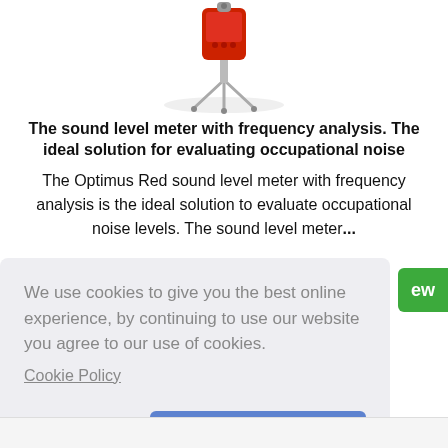[Figure (photo): Red Optimus sound level meter on a tripod stand, photographed on a white background]
The sound level meter with frequency analysis. The ideal solution for evaluating occupational noise
The Optimus Red sound level meter with frequency analysis is the ideal solution to evaluate occupational noise levels. The sound level meter...
We use cookies to give you the best online experience, by continuing to use our website you agree to our use of cookies.
Cookie Policy
Got it!
Allow cookies